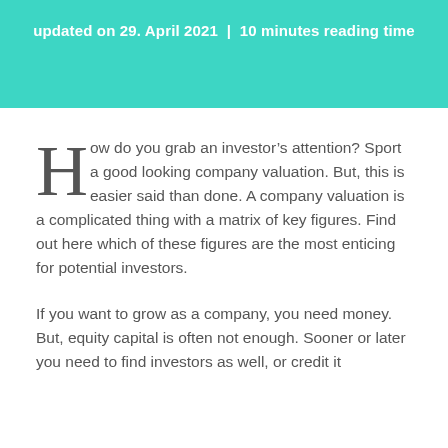updated on 29. April 2021  |  10 minutes reading time
How do you grab an investor’s attention? Sport a good looking company valuation. But, this is easier said than done. A company valuation is a complicated thing with a matrix of key figures. Find out here which of these figures are the most enticing for potential investors.
If you want to grow as a company, you need money. But, equity capital is often not enough. Sooner or later you need to find investors as well, or credit it...